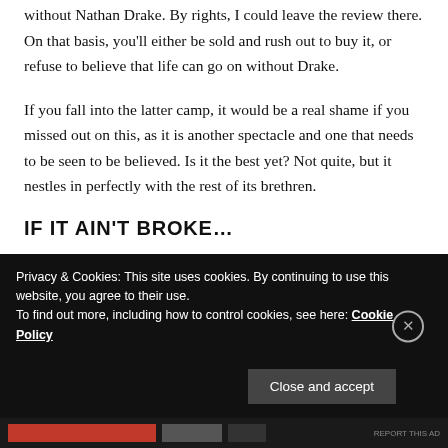without Nathan Drake. By rights, I could leave the review there. On that basis, you'll either be sold and rush out to buy it, or refuse to believe that life can go on without Drake.
If you fall into the latter camp, it would be a real shame if you missed out on this, as it is another spectacle and one that needs to be seen to be believed. Is it the best yet? Not quite, but it nestles in perfectly with the rest of its brethren.
IF IT AIN'T BROKE…
Privacy & Cookies: This site uses cookies. By continuing to use this website, you agree to their use.
To find out more, including how to control cookies, see here: Cookie Policy
Close and accept